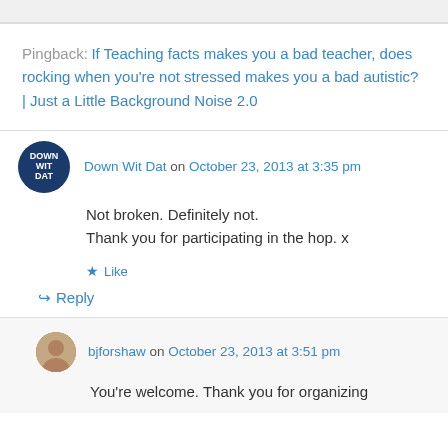Pingback: If Teaching facts makes you a bad teacher, does rocking when you're not stressed makes you a bad autistic? | Just a Little Background Noise 2.0
Down Wit Dat on October 23, 2013 at 3:35 pm
Not broken. Definitely not.
Thank you for participating in the hop. x
Like
Reply
bjforshaw on October 23, 2013 at 3:51 pm
You're welcome. Thank you for organizing